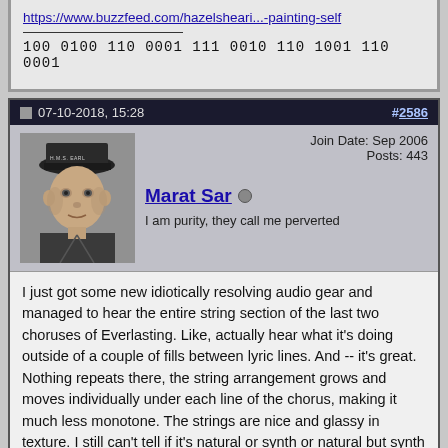https://www.buzzfeed.com/hazelsheari...-painting-self
100 0100 110 0001 111 0010 110 1001 110 0001
07-10-2018, 15:28   #2586
Join Date: Sep 2006
Posts: 443
Marat Sar
I am purity, they call me perverted
I just got some new idiotically resolving audio gear and managed to hear the entire string section of the last two choruses of Everlasting. Like, actually hear what it's doing outside of a couple of fills between lyric lines. And -- it's great. Nothing repeats there, the string arrangement grows and moves individually under each line of the chorus, making it much less monotone. The strings are nice and glassy in texture. I still can't tell if it's natural or synth or natural but synth aided (thinking it's the latter). There's a lower string section too, supporting the lead, but separate of it melodically, so it's actually a two line string arrangement. Quite accomplished really. Nothing extraordinary but very, very classy.
Sort of explains, finally, why that final chorus is so insanely